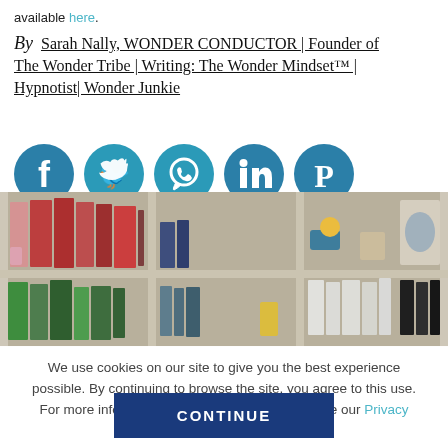available here.
By  Sarah Nally, WONDER CONDUCTOR | Founder of The Wonder Tribe | Writing: The Wonder Mindset™ | Hypnotist| Wonder Junkie
[Figure (illustration): Row of 5 circular social media icons: Facebook, Twitter, WhatsApp, LinkedIn, Pinterest — all in teal/blue color]
[Figure (photo): Bookshelf with books, files, and small decorative items arranged in cubbies]
We use cookies on our site to give you the best experience possible. By continuing to browse the site, you agree to this use. For more information on how we use cookies, see our Privacy Policy.
CONTINUE